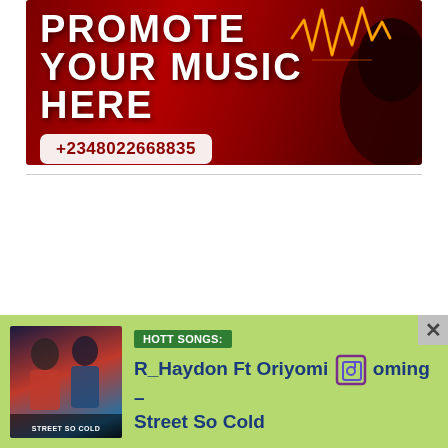[Figure (illustration): Promotional music banner with dark red background, bold white text reading 'PROMOTE YOUR MUSIC HERE' and phone number '+2348022668835' on white rounded rectangle. Right side shows silhouette of a person's head with glowing orange soundwave coming out, suggesting music/audio theme.]
[Figure (illustration): Advertisement bar with light green background showing album art for 'Street So Cold' on the left with figures, a 'HOTT SONGS:' dark green badge, and song title 'R_Haydon Ft Oriyomi Coming – Street So Cold' in bold dark blue text. Small music note icon visible. Close button X in top right.]